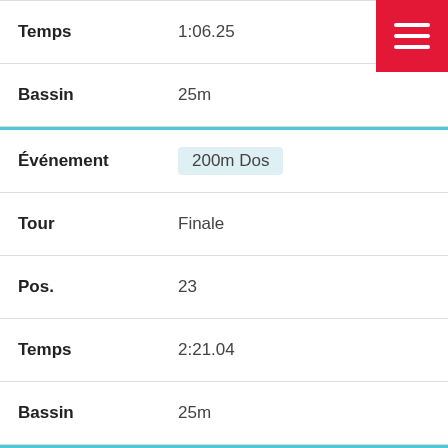| Label | Value |
| --- | --- |
| Temps | 1:06.25 |
| Bassin | 25m |
| Événement | 200m Dos |
| Tour | Finale |
| Pos. | 23 |
| Temps | 2:21.04 |
| Bassin | 25m |
| Événement | 200m Dos |
| Tour | Éliminatoire |